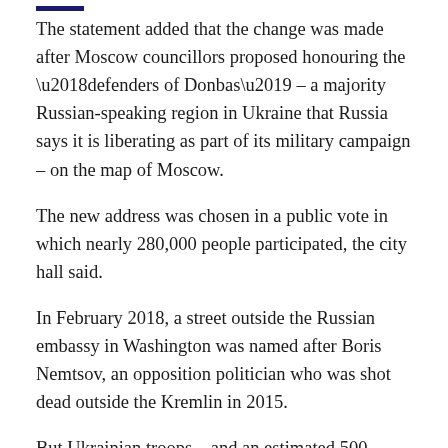The statement added that the change was made after Moscow councillors proposed honouring the ‘defenders of Donbas’ – a majority Russian-speaking region in Ukraine that Russia says it is liberating as part of its military campaign – on the map of Moscow.
The new address was chosen in a public vote in which nearly 280,000 people participated, the city hall said.
In February 2018, a street outside the Russian embassy in Washington was named after Boris Nemtsov, an opposition politician who was shot dead outside the Kremlin in 2015.
But Ukrainian troops – and an estimated 500 civilians – are reportedly still holding out at a chemical plant in the east bank city of Sievierodonetsk.
The governor of Luhansk province, Serhiy Gaidai, said Russians were advancing towards Lysychansk, attacking the buildings of